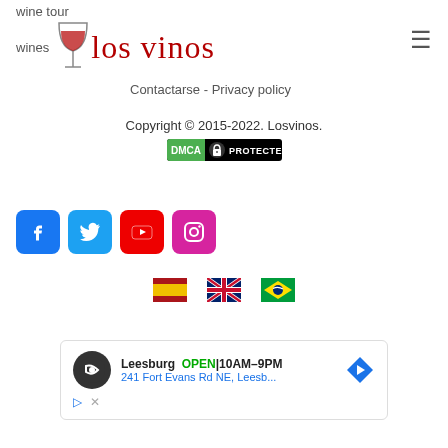wine tour
wines  los vinos  Contactarse - Privacy policy
Copyright © 2015-2022. Losvinos.
[Figure (logo): DMCA Protected badge - green and black badge]
[Figure (infographic): Social media icons: Facebook (blue), Twitter (light blue), YouTube (red), Instagram (pink/magenta)]
[Figure (infographic): Three country flags: Spain, United Kingdom, Brazil]
[Figure (screenshot): Advertisement for Leesburg store - OPEN 10AM-9PM, 241 Fort Evans Rd NE, Leesb...]